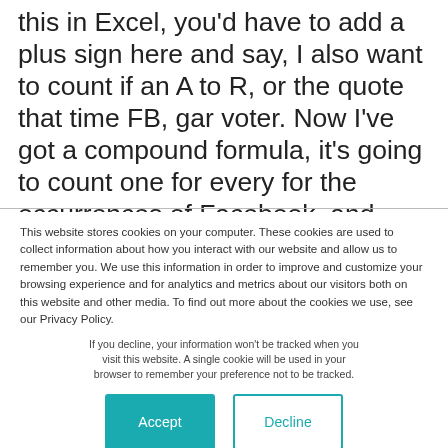this in Excel, you'd have to add a plus sign here and say, I also want to count if an A to R, or the quote that time FB, gar voter. Now I've got a compound formula, it's going to count one for every for the occurrences of Facebook, and another for the occurrence of FB, and so on and so forth. And this is admittedly a pretty rudimentary approach. But it's not entirely bad, right?
This website stores cookies on your computer. These cookies are used to collect information about how you interact with our website and allow us to remember you. We use this information in order to improve and customize your browsing experience and for analytics and metrics about our visitors both on this website and other media. To find out more about the cookies we use, see our Privacy Policy.
If you decline, your information won't be tracked when you visit this website. A single cookie will be used in your browser to remember your preference not to be tracked.